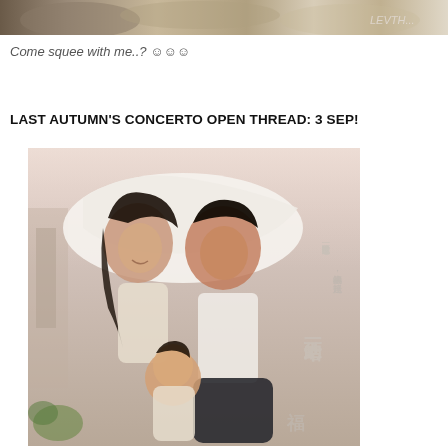[Figure (photo): Partial top image strip showing what appears to be food or objects, cropped at top of page]
Come squee with me..? ☺☺☺
LAST AUTUMN'S CONCERTO OPEN THREAD: 3 SEP!
[Figure (photo): Promotional photo for Last Autumn's Concerto (Next Stop, Happiness) showing a man and woman under a white sheet/blanket with a small child, with Chinese text on the right side of the image]